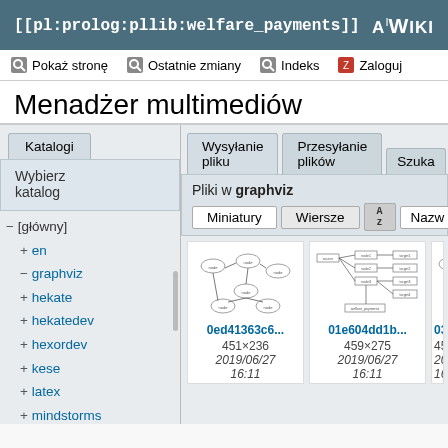[[pl:prolog:pllib:welfare_payments]]  AIWiki
Pokaż stronę   Ostatnie zmiany   Indeks   Zaloguj
Menadżer multimediów
Katalogi
Wysyłanie pliku   Przesyłanie plików   Szuka...
Wybierz katalog
Pliki w graphviz
Miniatury   Wiersze   [sort icon]   Nazw...
− [główny]
+ en
− graphviz
+ hekate
+ hekatedev
+ hexordev
+ kese
+ latex
+ mindstorms
[Figure (screenshot): Thumbnail of graphviz file 0ed41363c6... showing a directed graph diagram, 451x236, 2019/06/27 16:11]
[Figure (screenshot): Thumbnail of graphviz file 01e604dd1b... showing a directed graph diagram, 459x275, 2019/06/27 16:11]
[Figure (screenshot): Thumbnail of graphviz file 030eca... showing a directed graph diagram, 459x..., 2019/...]